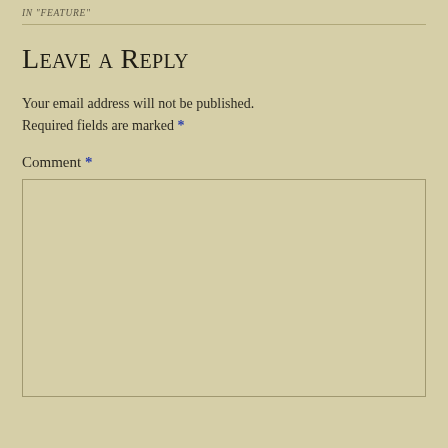IN "FEATURE"
Leave a Reply
Your email address will not be published. Required fields are marked *
Comment *